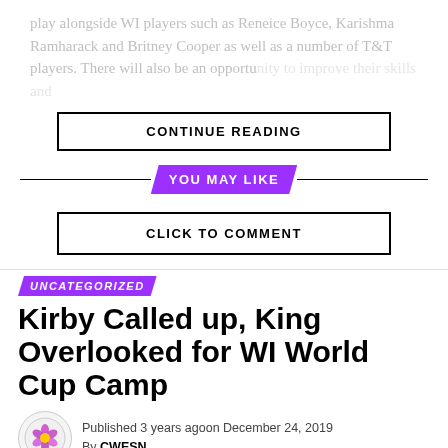play alongside WI players such as Reneice Boyce, Karishma Ramharack and Britney Cooper as well as a number of T&T players. There will also be an opportunity to improve their skills and
CONTINUE READING
YOU MAY LIKE
CLICK TO COMMENT
UNCATEGORIZED
Kirby Called up, King Overlooked for WI World Cup Camp
Published 3 years agoon December 24, 2019
By CWESN